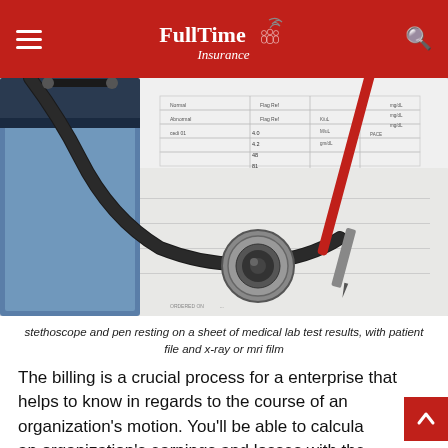FullTime Insurance
[Figure (photo): Stethoscope and pen resting on a sheet of medical lab test results, with patient file and x-ray or mri film]
stethoscope and pen resting on a sheet of medical lab test results, with patient file and x-ray or mri film
The billing is a crucial process for a enterprise that helps to know in regards to the course of an organization's motion. You'll be able to calculate an organization's earnings and losses with the